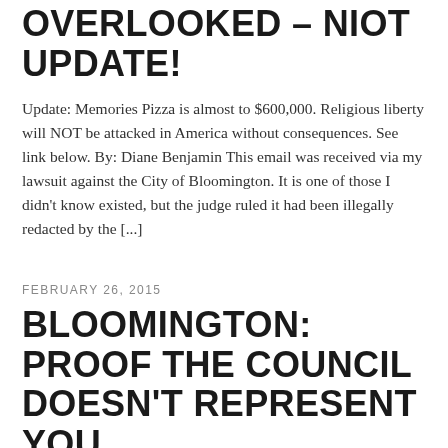OVERLOOKED – NIOT UPDATE!
Update:  Memories Pizza is almost to $600,000.  Religious liberty will NOT be attacked in America without consequences.  See link below. By:  Diane Benjamin This email was received via my lawsuit against the City of Bloomington.  It is one of those I didn't know existed, but the judge ruled it had been illegally redacted by the [...]
FEBRUARY 26, 2015
BLOOMINGTON: PROOF THE COUNCIL DOESN'T REPRESENT YOU